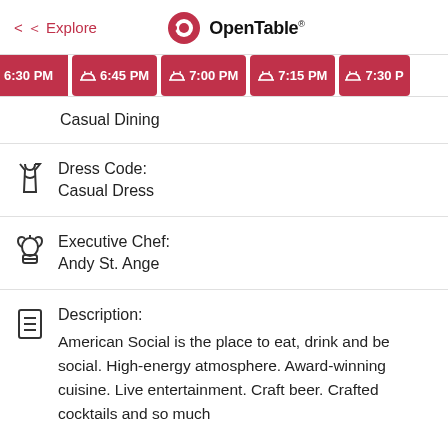< Explore | OpenTable
[Figure (screenshot): OpenTable reservation time buttons: 6:30 PM, 6:45 PM, 7:00 PM, 7:15 PM, 7:30 PM (partially visible), all in red]
Casual Dining
Dress Code:
Casual Dress
Executive Chef:
Andy St. Ange
Description:
American Social is the place to eat, drink and be social. High-energy atmosphere. Award-winning cuisine. Live entertainment. Craft beer. Crafted cocktails and so much